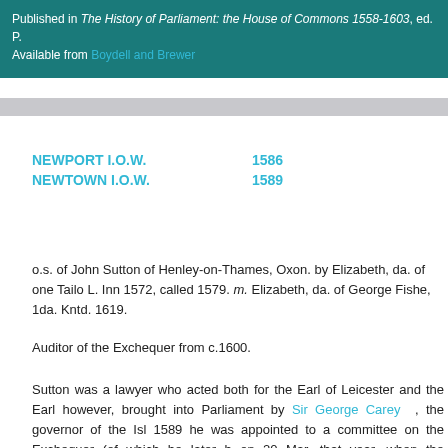Published in The History of Parliament: the House of Commons 1558-1603, ed. P.
Available from Boydell and Brewer
NEWPORT I.O.W.    1586
NEWTOWN I.O.W.    1589
o.s. of John Sutton of Henley-on-Thames, Oxon. by Elizabeth, da. of one Tailo L. Inn 1572, called 1579. m. Elizabeth, da. of George Fishe, 1da. Kntd. 1619.
Auditor of the Exchequer from c.1600.
Sutton was a lawyer who acted both for the Earl of Leicester and the Earl however, brought into Parliament by Sir George Carey , the governor of the Isl 1589 he was appointed to a committee on the Exchequer (of which he later b on 20 Mar. that year, when the amendments to the bill for the relief of Geor discussion. Sutton informed the House that, as the Earl of Warwick was 'not